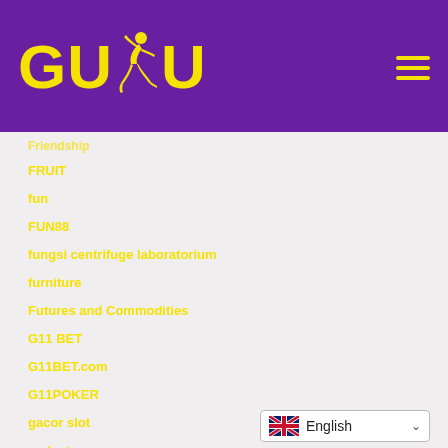[Figure (logo): GUDU logo with yellow text and running figure on purple background]
Friendship
FRUIT
fun
FUN88
fungsi centrifuge laboratorium
furniture
Futures and Commodities
G11 BET
G11BET.com
G11POKER
gacor slot
gadget
gambling